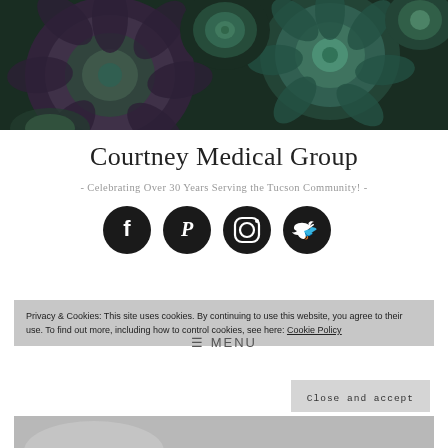[Figure (photo): Close-up photo of green and purple succulent plants filling the entire header area]
Courtney Medical Group
- Celebrating Over 30 Years Serving the Tucson Community! -
[Figure (infographic): Four black circular social media icons: Facebook, Pinterest, Instagram, Twitter]
Privacy & Cookies: This site uses cookies. By continuing to use this website, you agree to their use. To find out more, including how to control cookies, see here: Cookie Policy
≡ MENU
Close and accept